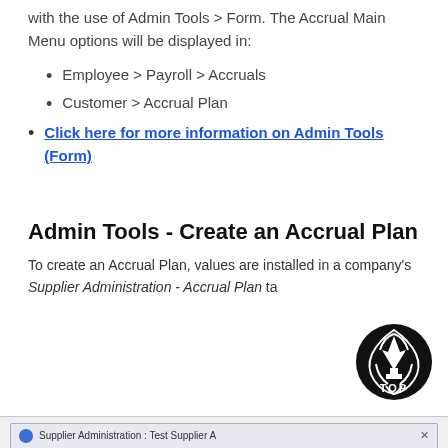with the use of Admin Tools > Form. The Accrual Main Menu options will be displayed in:
Employee > Payroll > Accruals
Customer > Accrual Plan
Click here for more information on Admin Tools (Form)
Admin Tools - Create an Accrual Plan
To create an Accrual Plan, values are installed in a company's Supplier Administration - Accrual Plan ta...
[Figure (screenshot): Partial screenshot of Supplier Administration: Test Supplier A window header bar]